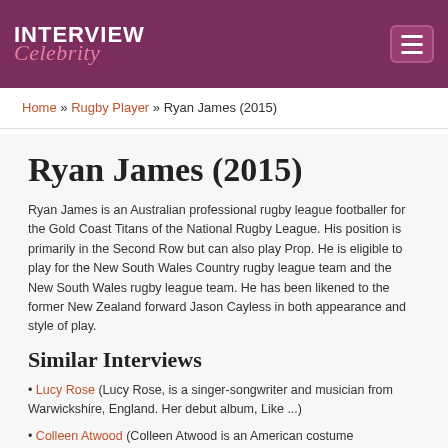INTERVIEW Celebrity
Home » Rugby Player » Ryan James (2015)
Ryan James (2015)
Ryan James is an Australian professional rugby league footballer for the Gold Coast Titans of the National Rugby League. His position is primarily in the Second Row but can also play Prop. He is eligible to play for the New South Wales Country rugby league team and the New South Wales rugby league team. He has been likened to the former New Zealand forward Jason Cayless in both appearance and style of play.
Similar Interviews
• Lucy Rose (Lucy Rose, is a singer-songwriter and musician from Warwickshire, England. Her debut album, Like ...)
• Colleen Atwood (Colleen Atwood is an American costume